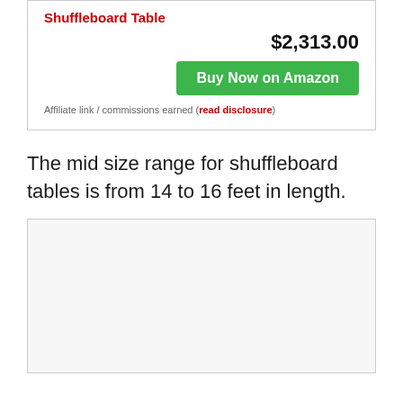Shuffleboard Table
$2,313.00
Buy Now on Amazon
Affiliate link / commissions earned (read disclosure)
The mid size range for shuffleboard tables is from 14 to 16 feet in length.
[Figure (photo): Empty light grey image box placeholder]